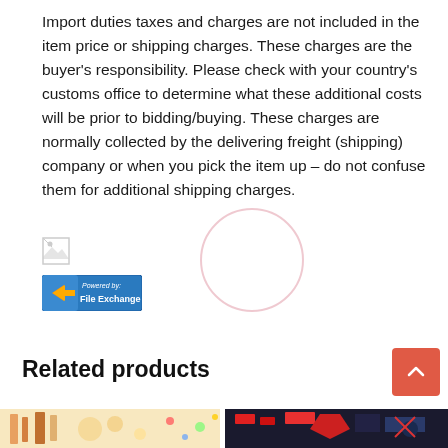Import duties taxes and charges are not included in the item price or shipping charges. These charges are the buyer's responsibility. Please check with your country's customs office to determine what these additional costs will be prior to bidding/buying. These charges are normally collected by the delivering freight (shipping) company or when you pick the item up – do not confuse them for additional shipping charges.
[Figure (other): Broken image placeholder icon (small, top-left area)]
[Figure (logo): Powered by: File Exchange badge/button with blue and orange styling]
Related products
[Figure (photo): Partial product images strip at bottom of page showing colorful items]